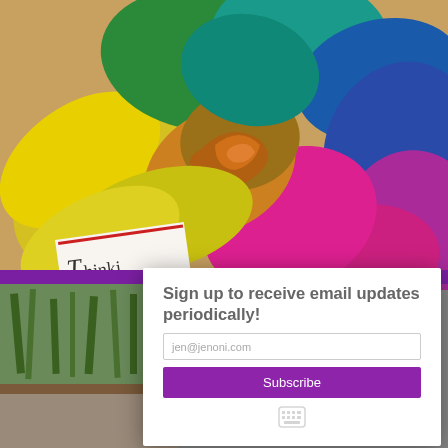[Figure (photo): Close-up photo of a rainbow-colored rose with petals in yellow, green, blue, teal, pink, purple colors. A book with 'Thinking' text is partially visible beneath the rose.]
[Figure (photo): Bottom-left area shows a background image with plants/garden scene partially visible, and what appears to be a group photo of people at the very bottom.]
Sign up to receive email updates periodically!
jen@jenoni.com
Subscribe